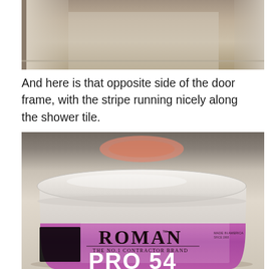[Figure (photo): Top portion of a photo showing a door frame area with shower tile and a stripe running along it. Beige/tan tones with curtain fabric visible.]
And here is that opposite side of the door frame, with the stripe running nicely along the shower tile.
[Figure (photo): Close-up photo of a white plastic bucket of Roman PRO-542 wallpaper adhesive. The bucket has a white lid and a purple label band showing the Roman logo (The No.1 Contractor Brand) and PRO 54x product name in white text.]